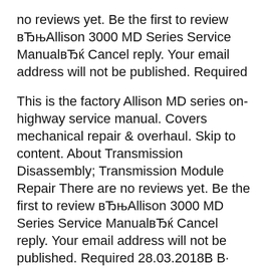no reviews yet. Be the first to review вЂњAllison 3000 MD Series Service ManualвЂќ Cancel reply. Your email address will not be published. Required
This is the factory Allison MD series on-highway service manual. Covers mechanical repair & overhaul. Skip to content. About Transmission Disassembly; Transmission Module Repair There are no reviews yet. Be the first to review вЂњAllison 3000 MD Series Service ManualвЂќ Cancel reply. Your email address will not be published. Required 28.03.2018В В· Allison 4500rds 4000 3000 all the same They will lie to you and say it doesnt need to be changed. Skip navigation